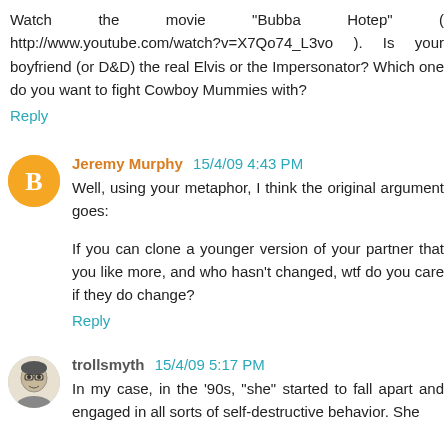Watch the movie "Bubba Hotep" ( http://www.youtube.com/watch?v=X7Qo74_L3vo ). Is your boyfriend (or D&D) the real Elvis or the Impersonator? Which one do you want to fight Cowboy Mummies with?
Reply
Jeremy Murphy 15/4/09 4:43 PM
Well, using your metaphor, I think the original argument goes:
If you can clone a younger version of your partner that you like more, and who hasn't changed, wtf do you care if they do change?
Reply
trollsmyth 15/4/09 5:17 PM
In my case, in the '90s, "she" started to fall apart and engaged in all sorts of self-destructive behavior. She